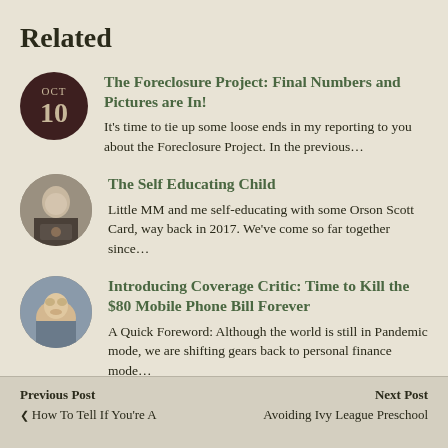Related
The Foreclosure Project: Final Numbers and Pictures are In! — It's time to tie up some loose ends in my reporting to you about the Foreclosure Project. In the previous…
The Self Educating Child — Little MM and me self-educating with some Orson Scott Card, way back in 2017. We've come so far together since…
Introducing Coverage Critic: Time to Kill the $80 Mobile Phone Bill Forever — A Quick Foreword: Although the world is still in Pandemic mode, we are shifting gears back to personal finance mode…
Previous Post  ❮ How To Tell If You're A    Next Post  Avoiding Ivy League Preschool